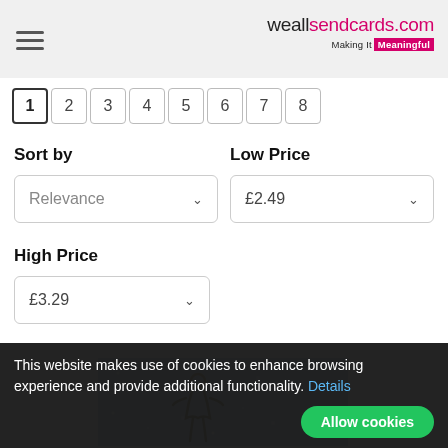weallsendcards.com — Making It Meaningful
1 2 3 4 5 6 7 8 (pagination)
Sort by
Relevance
Low Price
£2.49
High Price
£3.29
[Figure (photo): Partial product card image with blue glitter background and gold/dark decorative element]
This website makes use of cookies to enhance browsing experience and provide additional functionality. Details
Allow cookies